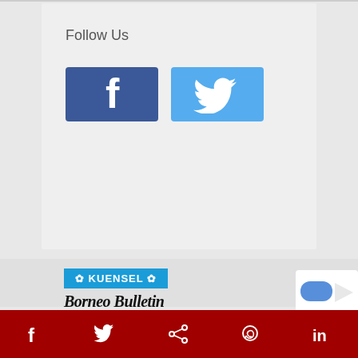Follow Us
[Figure (logo): Facebook button - dark blue square with white 'f' logo]
[Figure (logo): Twitter button - light blue square with white bird logo]
[Figure (logo): Kuensel logo - blue badge with white text]
[Figure (logo): Borneo Bulletin logo - black italic serif text]
[Figure (logo): The Phnom Penh Post logo - bordered italic text]
Social share bar with Facebook, Twitter, Share, WhatsApp, LinkedIn icons